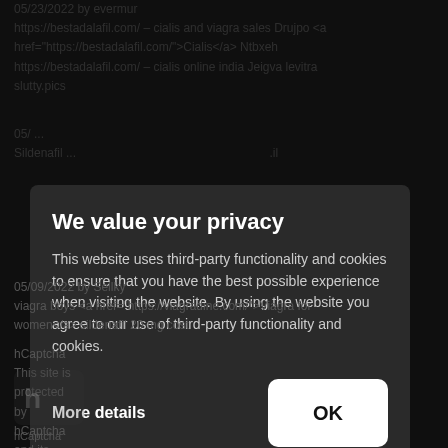05/23/2022 by evermur https://bestadalafil.com/ – cialis and viagra sales Drujpo <a href="https://bestadalafil.com/">Cialis</a> Ntbxeh https://bestadalafil.com/ – cialis online india Jeigva levitra slutty.pics
05/... Sildenafil... (background partially obscured text)
We value your privacy
This website uses third-party functionality and cookies to ensure that you have the best possible experience when visiting the website. By using the website you agree to our use of third-party functionality and cookies.
More details
05/09/2022 by Sellky viagra boys <a href="https://viagradine.com/">viagra for women</a> sildenafil 20 mg cost
hCaptcha This site is protected by hCaptcha and its Privacy Policy and Terms of Service apply.
[Figure (logo): hCaptcha logo icon, partially visible]
OK button